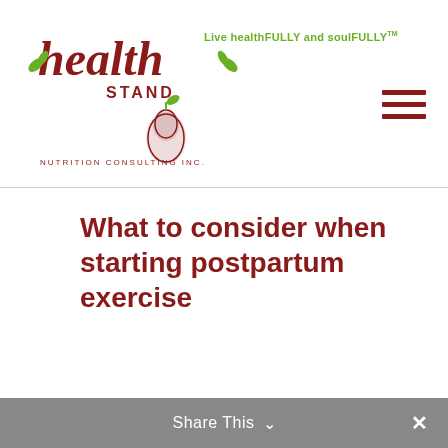[Figure (logo): Health Stand Nutrition Consulting Inc. logo with stylized text and green leaf/pear graphic]
Live healthFULLY and soulFULLY™
[Figure (other): Hamburger menu icon with three dark red horizontal lines]
What to consider when starting postpartum exercise
Share This ∨  ✕